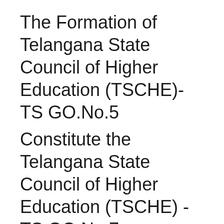The Formation of Telangana State Council of Higher Education (TSCHE)- TS GO.No.5
Constitute the Telangana State Council of Higher Education (TSCHE) -TS GO.No.7